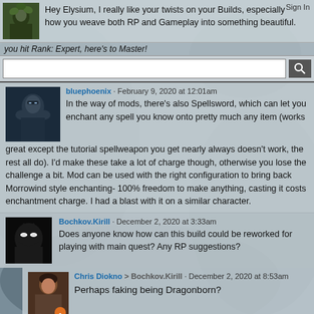Hey Elysium, I really like your twists on your Builds, especially how you weave both RP and Gameplay into something beautiful.
Sign In
you hit Rank: Expert, here's to Master!
bluephoenix · February 9, 2020 at 12:01am
In the way of mods, there's also Spellsword, which can let you enchant any spell you know onto pretty much any item (works great except the tutorial spellweapon you get nearly always doesn't work, the rest all do). I'd make these take a lot of charge though, otherwise you lose the challenge a bit. Mod can be used with the right configuration to bring back Morrowind style enchanting- 100% freedom to make anything, casting it costs enchantment charge. I had a blast with it on a similar character.
Bochkov.Kirill · December 2, 2020 at 3:33am
Does anyone know how can this build could be reworked for playing with main quest? Any RP suggestions?
Chris Diokno > Bochkov.Kirill · December 2, 2020 at 8:53am
Perhaps faking being Dragonborn?
Axel CdRm · August 26, 2022 at 10:11am
Very nice and complete character ! Well done !